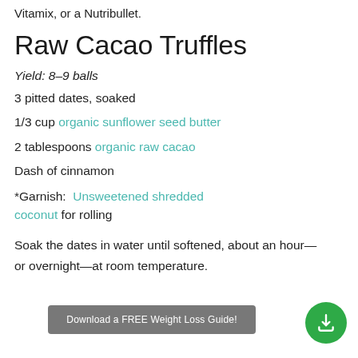Vitamix, or a Nutribullet.
Raw Cacao Truffles
Yield: 8–9 balls
3 pitted dates, soaked
1/3 cup organic sunflower seed butter
2 tablespoons organic raw cacao
Dash of cinnamon
*Garnish: Unsweetened shredded coconut for rolling
Soak the dates in water until softened, about an hour—or overnight—at room temperature.